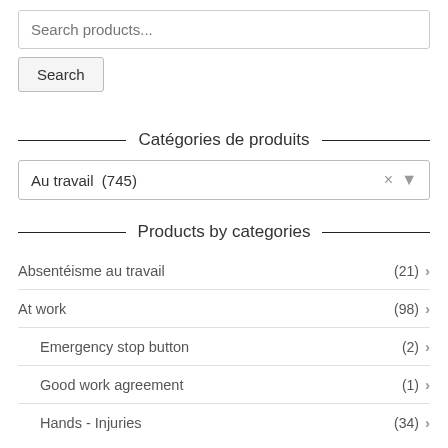Search products...
Search
Catégories de produits
Au travail  (745)
Products by categories
Absentéisme au travail (21)
At work (98)
Emergency stop button (2)
Good work agreement (1)
Hands - Injuries (34)